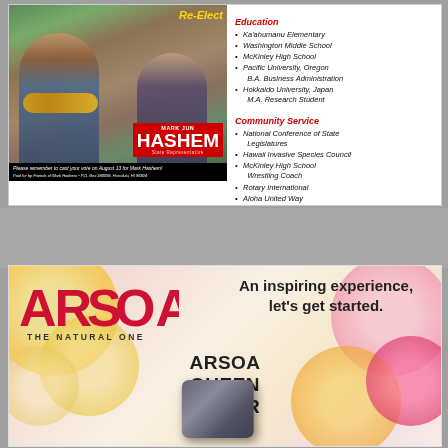[Figure (photo): Political campaign ad for Re-Elect Mark Jun Hashem, State Representative. Photo of two people smiling with leis, yellow text says Re-Elect, red box with MARK JUN HASHEM. Caption: Please remember to cast your vote on August 13 for Mark Hashem!]
Education
Ka'ahumanu Elementary
Washington Middle School
McKinley High School
Pacific University, Oregon B.A. Business Administration
Hokkaido University, Japan M.A. Research Student
Community Service
National Conference of State Legislatures
Hawaii Invasive Species Council
McKinley High School Wrestling Coach
Rotary International
Aloha United Way
[Figure (advertisement): ARSOA THE NATURAL ONE advertisement. An inspiring experience, let's get started. ARSOA QUEEN SILVER product with floral background.]